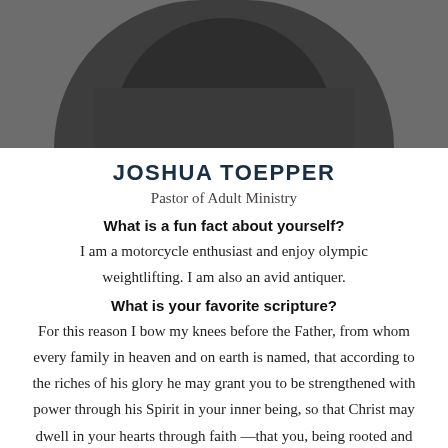[Figure (photo): Black and white photo of Joshua Toepper from chest up, wearing dark turtleneck, arms crossed]
JOSHUA TOEPPER
Pastor of Adult Ministry
What is a fun fact about yourself?
I am a motorcycle enthusiast and enjoy olympic weightlifting. I am also an avid antiquer.
What is your favorite scripture?
For this reason I bow my knees before the Father, from whom every family in heaven and on earth is named, that according to the riches of his glory he may grant you to be strengthened with power through his Spirit in your inner being, so that Christ may dwell in your hearts through faith —that you, being rooted and grounded in love, may have strength to comprehend with all the saints what is the